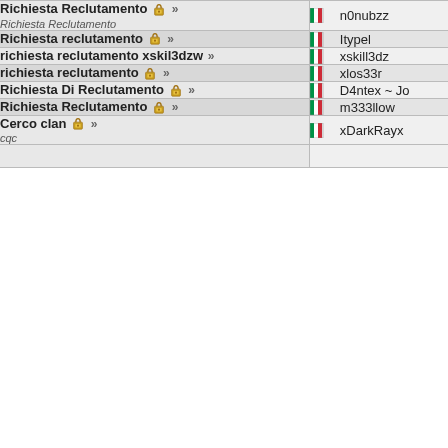| Topic | Author |
| --- | --- |
| Richiesta Reclutamento 🔒 »
Richiesta Reclutamento | 🇮🇹 n0nubzz |
| Richiesta reclutamento 🔒 » | 🇮🇹 Itypel |
| richiesta reclutamento xskil3dzw » | 🇮🇹 xskill3dz |
| richiesta reclutamento 🔒 » | 🇮🇹 xlos33r |
| Richiesta Di Reclutamento 🔒 » | 🇮🇹 D4ntex ~ Jo |
| Richiesta Reclutamento 🔒 » | 🇮🇹 m333llow |
| Cerco clan 🔒 »
cqc | 🇮🇹 xDarkRayx |
|  |  |